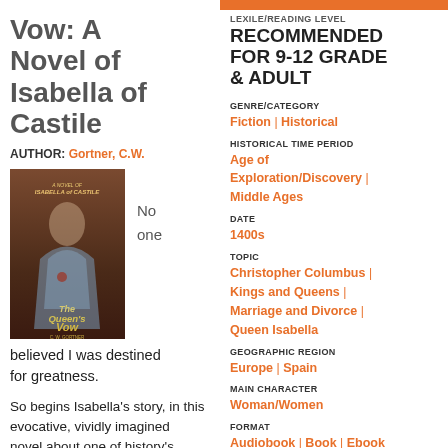Vow: A Novel of Isabella of Castile
AUTHOR: Gortner, C.W.
[Figure (illustration): Book cover of The Queen's Vow by C.W. Gortner, showing a woman in a blue gown]
No one
believed I was destined for greatness.
So begins Isabella's story, in this evocative, vividly imagined novel about one of history's most famous and controversial queens—the warrior who united a
LEXILE/READING LEVEL
RECOMMENDED FOR 9-12 GRADE & ADULT
GENRE/CATEGORY
Fiction | Historical
HISTORICAL TIME PERIOD
Age of Exploration/Discovery | Middle Ages
DATE
1400s
TOPIC
Christopher Columbus | Kings and Queens | Marriage and Divorce | Queen Isabella
GEOGRAPHIC REGION
Europe | Spain
MAIN CHARACTER
Woman/Women
FORMAT
Audiobook | Book | Ebook